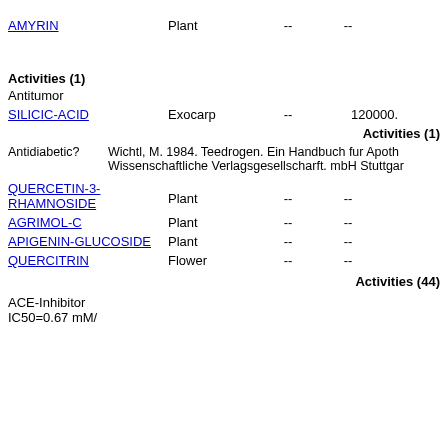AMYRIN   Plant   --   --
Activities (1)
Antitumor
SILICIC-ACID   Exocarp   --   120000.
Activities (1)
Antidiabetic?   Wichtl, M. 1984. Teedrogen. Ein Handbuch fur Apoth Wissenschaftliche Verlagsgesellscharft. mbH Stuttgar
QUERCETIN-3-RHAMNOSIDE   Plant   --   --
AGRIMOL-C   Plant   --   --
APIGENIN-GLUCOSIDE   Plant   --   --
QUERCITRIN   Flower   --   --
Activities (44)
ACE-Inhibitor IC50=0.67 mM/